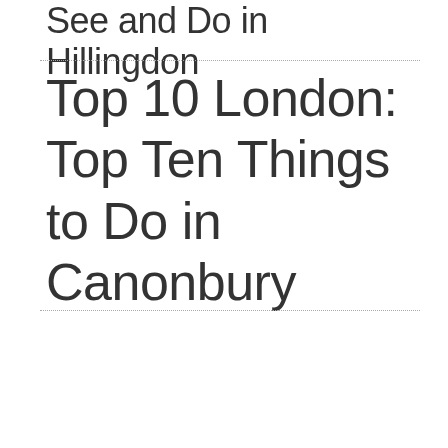See and Do in Hillingdon
Top 10 London: Top Ten Things to Do in Canonbury